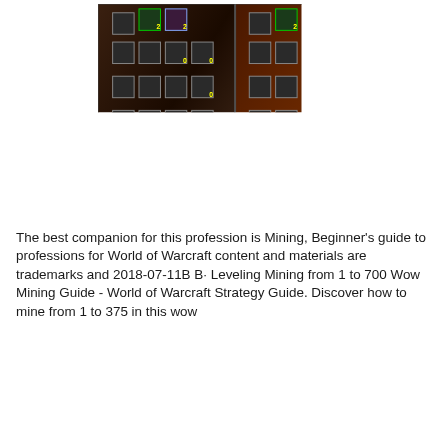[Figure (screenshot): World of Warcraft talent tree screenshot showing three talent panels (left dark brown/earth tones, middle orange/fire tones, right dark blue tones) with icon grids connected by yellow lines, each icon showing small numbered badges]
The best companion for this profession is Mining, Beginner's guide to professions for World of Warcraft content and materials are trademarks and 2018-07-11B B· Leveling Mining from 1 to 700 Wow Mining Guide - World of Warcraft Strategy Guide. Discover how to mine from 1 to 375 in this wow